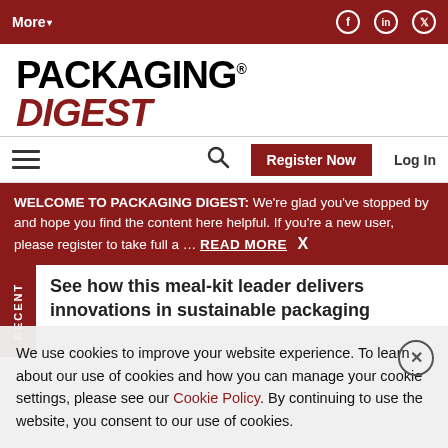More▾  [Facebook] [LinkedIn] [Twitter]
PACKAGING DIGEST
☰  🔍  Register Now  Log In
WELCOME TO PACKAGING DIGEST: We're glad you've stopped by and hope you find the content here helpful. If you're a new user, please register to take full a … READ MORE  X
RECENT
See how this meal-kit leader delivers innovations in sustainable packaging
We use cookies to improve your website experience. To learn about our use of cookies and how you can manage your cookie settings, please see our Cookie Policy. By continuing to use the website, you consent to our use of cookies.